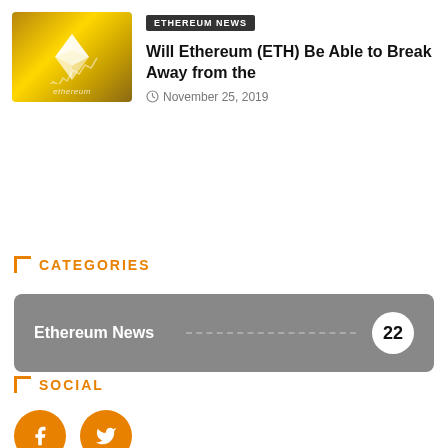[Figure (illustration): Ethereum logo on gold background with price chart line and 'ethereum' text]
ETHEREUM NEWS
Will Ethereum (ETH) Be Able to Break Away from the
November 25, 2019
CATEGORIES
Ethereum News ... 22
SOCIAL